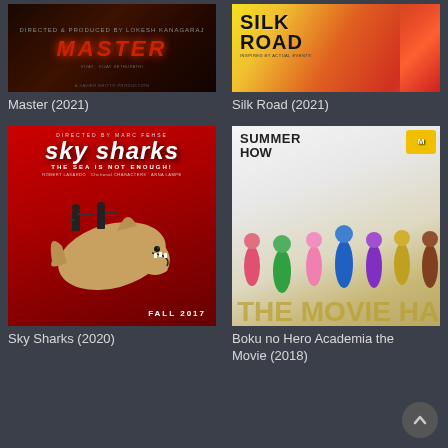[Figure (photo): Movie poster for Master (2021) – dark reddish background with title text]
Master (2021)
[Figure (photo): Movie poster for Silk Road (2021) – colorful yellow and orange background with bold black SILK ROAD text]
Silk Road (2021)
[Figure (photo): Movie poster for Sky Sharks (2020) – red background with large shark and soldiers, text: sky sharks, THE SEA IS NOT ENOUGH!, FALL 2017]
Sky Sharks (2020)
[Figure (photo): Movie poster for Boku no Hero Academia the Movie (2018) – anime characters running, SUMMER HOW text at top]
Boku no Hero Academia the Movie (2018)